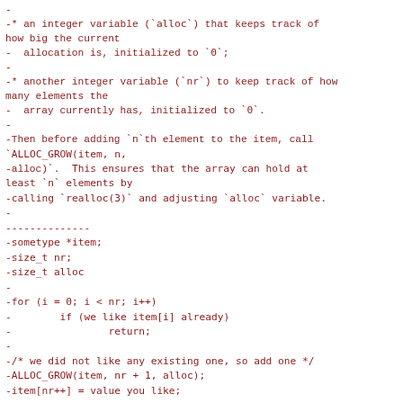-
-* an integer variable (`alloc`) that keeps track of how big the current
-  allocation is, initialized to `0`;
-
-* another integer variable (`nr`) to keep track of how many elements the
-  array currently has, initialized to `0`.
-
-Then before adding `n`th element to the item, call `ALLOC_GROW(item, n,
-alloc)`.  This ensures that the array can hold at least `n` elements by
-calling `realloc(3)` and adjusting `alloc` variable.
-
--------------
-sometype *item;
-size_t nr;
-size_t alloc
-
-for (i = 0; i < nr; i++)
-        if (we like item[i] already)
-                return;
-
-/* we did not like any existing one, so add one */
-ALLOC_GROW(item, nr + 1, alloc);
-item[nr++] = value you like;
--------------
-
-You are responsible for updating the `nr` variable.